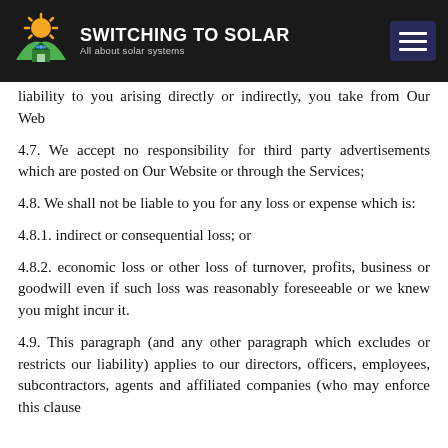SWITCHING TO SOLAR — All about solar systems
liability to you arising directly or indirectly, you take from Our Website
4.7. We accept no responsibility for third party advertisements which are posted on Our Website or through the Services;
4.8. We shall not be liable to you for any loss or expense which is:
4.8.1. indirect or consequential loss; or
4.8.2. economic loss or other loss of turnover, profits, business or goodwill even if such loss was reasonably foreseeable or we knew you might incur it.
4.9. This paragraph (and any other paragraph which excludes or restricts our liability) applies to our directors, officers, employees, subcontractors, agents and affiliated companies (who may enforce this clause